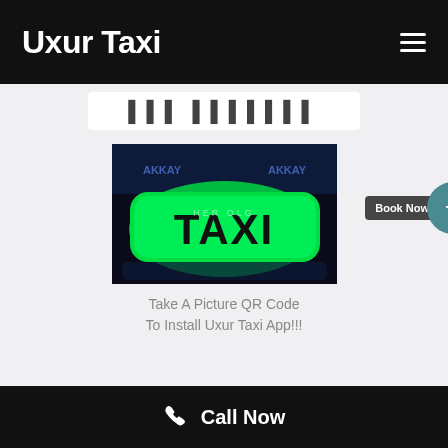Uxur Taxi
[Figure (screenshot): Partially visible text bar with blurred/dark text including 'HER OLGU' style characters]
[Figure (photo): Glowing green taxi roof sign with 'TAXI' text in black, dark blue background. Text 'HER OLG' visible in lighter green on the sign. A 'Book Now' dark tooltip and teal plus-button overlay visible.]
Take A Picture QR Code To Install Uxur Taxi App!!!
Call Now